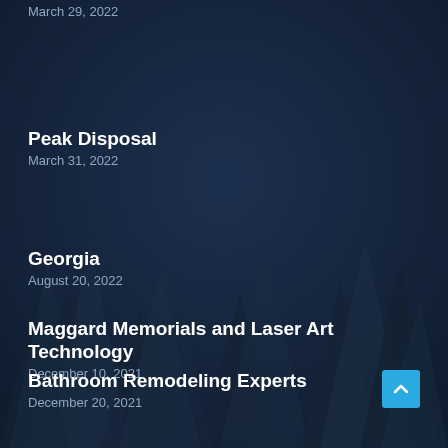March 29, 2022
Peak Disposal
March 31, 2022
Georgia
August 20, 2022
Maggard Memorials and Laser Art Technology
December 10, 2021
Bathroom Remodeling Experts
December 20, 2021
Atlanta United Tree Service
March 8, 2022